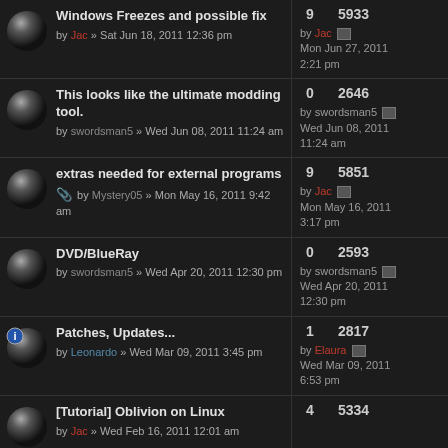Windows Freezes and possible fix by Jac » Sat Jun 18, 2011 12:36 pm | 9 replies 5933 views | by Jac Mon Jun 27, 2011 2:21 pm
This looks like the ultimate modding tool. by swordsman5 » Wed Jun 08, 2011 11:24 am | 0 replies 2646 views | by swordsman5 Wed Jun 08, 2011 11:24 am
extras needed for external programs by Mystery05 » Mon May 16, 2011 9:42 am | 9 replies 5851 views | by Jac Mon May 16, 2011 3:17 pm
DVD/BlueRay by swordsman5 » Wed Apr 20, 2011 12:30 pm | 0 replies 2593 views | by swordsman5 Wed Apr 20, 2011 12:30 pm
Patches, Updates... by Leonardo » Wed Mar 09, 2011 3:45 pm | 1 reply 2817 views | by Elaura Wed Mar 09, 2011 6:53 pm
[Tutorial] Oblivion on Linux by Jac » Wed Feb 16, 2011 12:01 am | 4 replies 5334 views